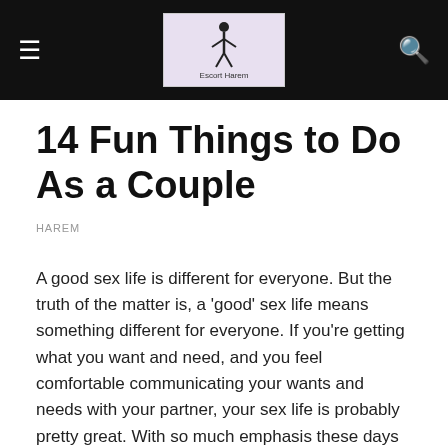Escort Harem logo header with hamburger menu and search icon
14 Fun Things to Do As a Couple
HAREM
A good sex life is different for everyone. But the truth of the matter is, a 'good' sex life means something different for everyone. If you're getting what you want and need, and you feel comfortable communicating your wants and needs with your partner, your sex life is probably pretty great. With so much emphasis these days on hooking up, swiping right, and showing off those couples selfies on Instagram, it can honestly feel like everyone in the world is having more or better! But whether you're in a new relationship, or well